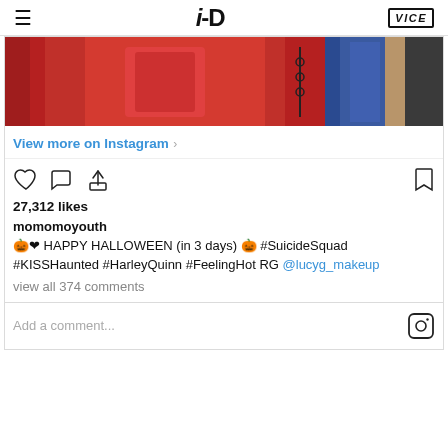i-D | VICE
[Figure (photo): Partial view of a red garment/fabric with blue fabric visible to the right, appears to be on a rack or table]
View more on Instagram
[Figure (infographic): Instagram action icons: heart (like), comment bubble, share arrow, and bookmark]
27,312 likes
momomoyouth
🎃❤ HAPPY HALLOWEEN (in 3 days) 🎃 #SuicideSquad #KISSHaunted #HarleyQuinn #FeelingHot RG @lucyg_makeup
view all 374 comments
Add a comment...